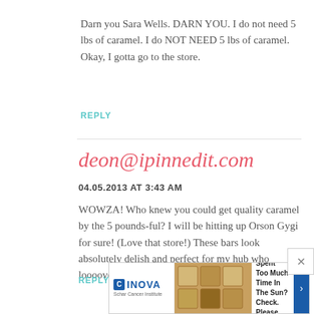Darn you Sara Wells. DARN YOU. I do not need 5 lbs of caramel. I do NOT NEED 5 lbs of caramel. Okay, I gotta go to the store.
REPLY
deon@ipinnedit.com
04.05.2013 AT 3:43 AM
WOWZA! Who knew you could get quality caramel by the 5 pounds-ful? I will be hitting up Orson Gygi for sure! (Love that store!) These bars look absolutely delish and perfect for my hub who looooves caramel! Thanks!
REPLY
[Figure (screenshot): Advertisement banner for INOVA Schar Cancer Institute with text 'Spent Too Much Time In The Sun? Check. Please.' and an image of bread/crackers in the sun.]